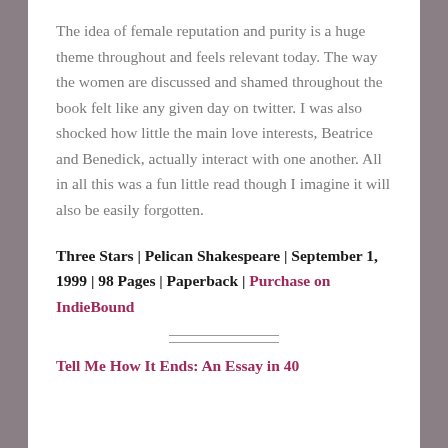The idea of female reputation and purity is a huge theme throughout and feels relevant today. The way the women are discussed and shamed throughout the book felt like any given day on twitter. I was also shocked how little the main love interests, Beatrice and Benedick, actually interact with one another. All in all this was a fun little read though I imagine it will also be easily forgotten.
Three Stars | Pelican Shakespeare | September 1, 1999 | 98 Pages | Paperback | Purchase on IndieBound
Tell Me How It Ends: An Essay in 40